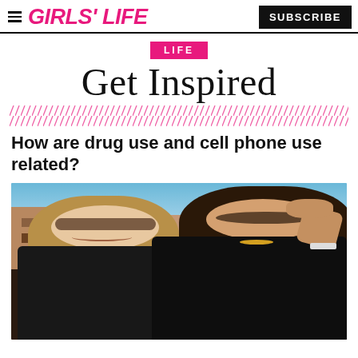GIRLS' LIFE  |  SUBSCRIBE
LIFE
Get Inspired
How are drug use and cell phone use related?
[Figure (photo): Two teenage girls wearing sunglasses, smiling and looking at a cell phone together outdoors.]